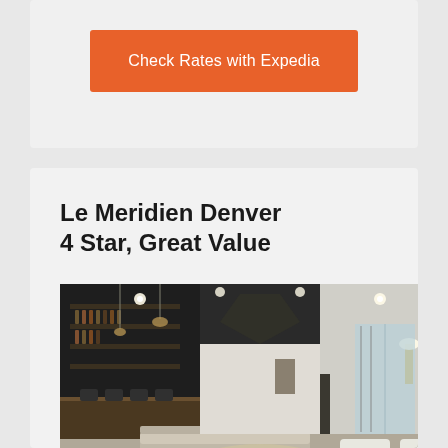Check Rates with Expedia
Le Meridien Denver
4 Star, Great Value
[Figure (photo): Interior lobby of Le Meridien Denver hotel showing luxurious lounge area with modern furniture, bar area on the left, dramatic chandelier, recessed lighting, neutral tones with dark accents, and open floor plan.]